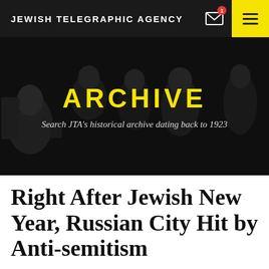JEWISH TELEGRAPHIC AGENCY
[Figure (photo): Dark monochrome photo collage of historical Jewish figures as background for the JTA Archive section header]
ARCHIVE
Search JTA's historical archive dating back to 1923
Right After Jewish New Year, Russian City Hit by Anti-semitism